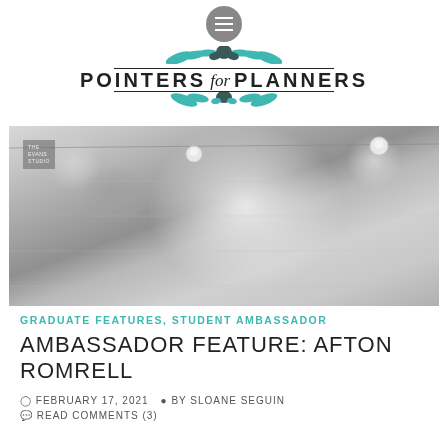[Figure (logo): Pointers for Planners logo with hamburger menu icon, decorative floral elements, and styled text with lines above and below]
[Figure (photo): Black and white portrait photo of a smiling young blonde woman (Afton Romrell) with string lights and wooden plank background]
GRADUATE FEATURES, STUDENT AMBASSADOR
AMBASSADOR FEATURE: AFTON ROMRELL
FEBRUARY 17, 2021   BY SLOANE SEGUIN
READ COMMENTS (3)